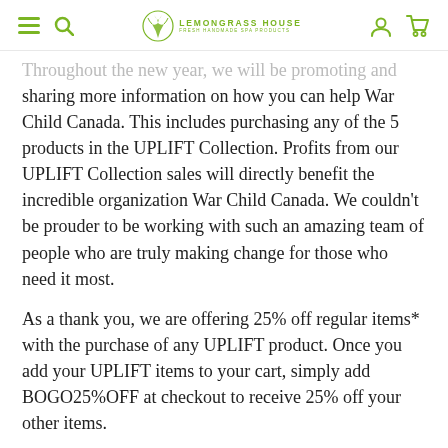Lemongrass House — Fresh Handmade Spa Products
Throughout the new year, we will be promoting and sharing more information on how you can help War Child Canada. This includes purchasing any of the 5 products in the UPLIFT Collection. Profits from our UPLIFT Collection sales will directly benefit the incredible organization War Child Canada. We couldn't be prouder to be working with such an amazing team of people who are truly making change for those who need it most.
As a thank you, we are offering 25% off regular items* with the purchase of any UPLIFT product. Once you add your UPLIFT items to your cart, simply add BOGO25%OFF at checkout to receive 25% off your other items.